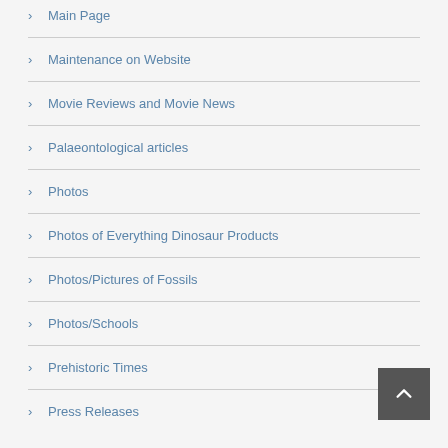Main Page
Maintenance on Website
Movie Reviews and Movie News
Palaeontological articles
Photos
Photos of Everything Dinosaur Products
Photos/Pictures of Fossils
Photos/Schools
Prehistoric Times
Press Releases